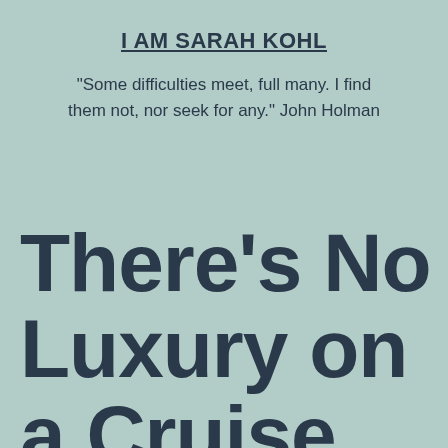I AM SARAH KOHL
"Some difficulties meet, full many. I find them not, nor seek for any." John Holman
There’s No Luxury on a Cruise Ship